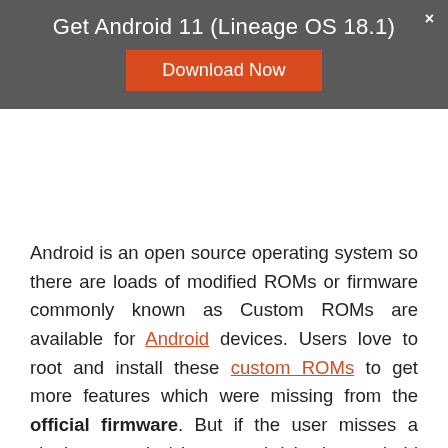Get Android 11 (Lineage OS 18.1)
Android is an open source operating system so there are loads of modified ROMs or firmware commonly known as Custom ROMs are available for Android devices. Users love to root and install these custom ROMs to get more features which were missing from the official firmware. But if the user misses a single step, he/she may brick the android phone and only be installing the